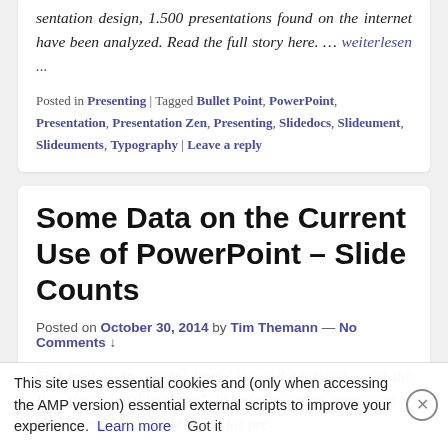sentation design, 1.500 presentations found on the internet have been analyzed. Read the full story here. … weiterlesen ...
Posted in Presenting | Tagged Bullet Point, PowerPoint, Presentation, Presentation Zen, Presenting, Slidedocs, Slideument, Slideuments, Typography | Leave a reply
Some Data on the Current Use of PowerPoint – Slide Counts
Posted on October 30, 2014 by Tim Themann — No Comments ↓
This post is an excerpt from "Visual Logorrhea – On the Prevalence of Slideuments". In order to get an impression of the current use of PowerPoint for pre-
This site uses essential cookies and (only when accessing the AMP version) essential external scripts to improve your experience. Learn more  Got it